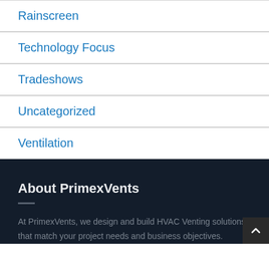Rainscreen
Technology Focus
Tradeshows
Uncategorized
Ventilation
About PrimexVents
At PrimexVents, we design and build HVAC Venting solutions that match your project needs and business objectives.